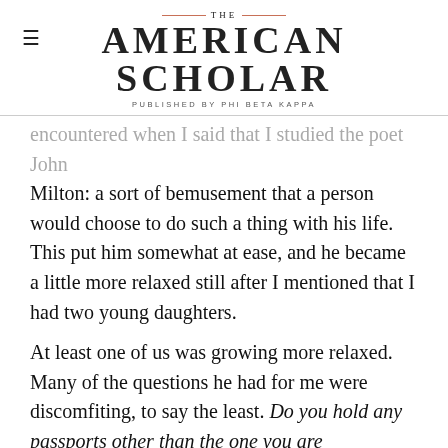THE AMERICAN SCHOLAR — PUBLISHED BY PHI BETA KAPPA
encountered when I said that I studied the poet John Milton: a sort of bemusement that a person would choose to do such a thing with his life. This put him somewhat at ease, and he became a little more relaxed still after I mentioned that I had two young daughters.

At least one of us was growing more relaxed. Many of the questions he had for me were discomfiting, to say the least. Do you hold any passports other than the one you are presenting? No, I'm Canadian and nothing else. Is all of your family in Canada or in Egypt? My mother